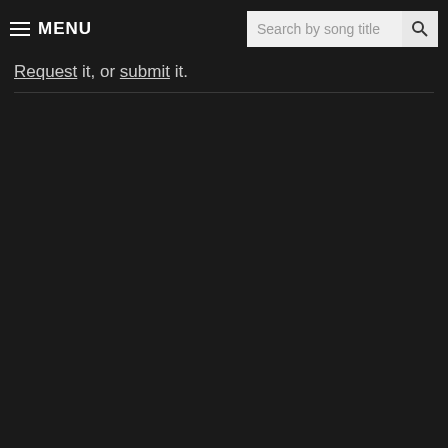MENU | Search by song title
Request it, or submit it.